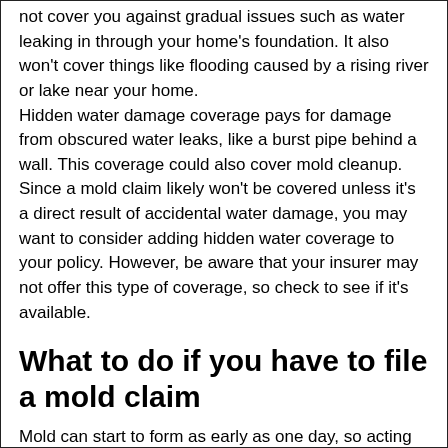not cover you against gradual issues such as water leaking in through your home's foundation. It also won't cover things like flooding caused by a rising river or lake near your home.
Hidden water damage coverage pays for damage from obscured water leaks, like a burst pipe behind a wall. This coverage could also cover mold cleanup. Since a mold claim likely won't be covered unless it's a direct result of accidental water damage, you may want to consider adding hidden water coverage to your policy. However, be aware that your insurer may not offer this type of coverage, so check to see if it's available.
What to do if you have to file a mold claim
Mold can start to form as early as one day, so acting fast is important.
Stop the leak as soon as possible. If you have a water leak or burst pipe in your home, shut off the main water valve as quickly as possible. Make sure you know the location of the main water shut-off valve in your home